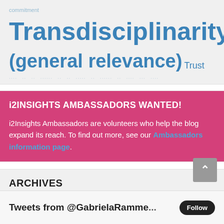[Figure (infographic): Tag cloud with words including 'commitment', 'Transdisciplinarity', '(general relevance)', and 'Trust' in various sizes and blue colors on a light grey background]
i2INSIGHTS AMBASSADORS WANTED!
i2Insights Ambassadors are volunteers who help the blog expand its reach. To find out more, see our Ambassadors information page.
ARCHIVES
Select Month
Tweets from @GabrieleRammer...